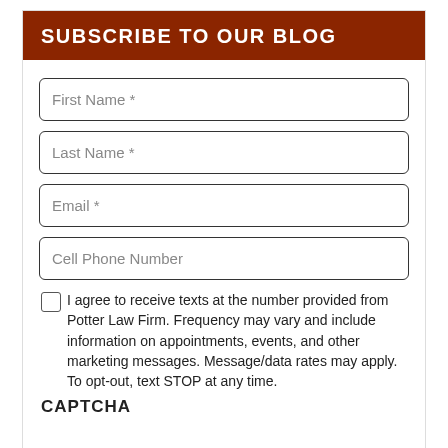SUBSCRIBE TO OUR BLOG
First Name *
Last Name *
Email *
Cell Phone Number
I agree to receive texts at the number provided from Potter Law Firm. Frequency may vary and include information on appointments, events, and other marketing messages. Message/data rates may apply. To opt-out, text STOP at any time.
CAPTCHA